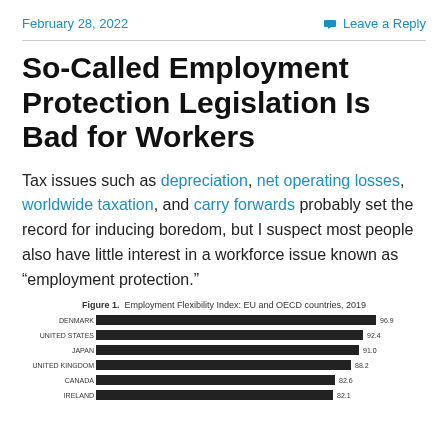February 28, 2022
Leave a Reply
So-Called Employment Protection Legislation Is Bad for Workers
Tax issues such as depreciation, net operating losses, worldwide taxation, and carry forwards probably set the record for inducing boredom, but I suspect most people also have little interest in a workforce issue known as “employment protection.”
Figure 1. Employment Flexibility Index: EU and OECD countries, 2019
[Figure (bar-chart): Employment Flexibility Index: EU and OECD countries, 2019]